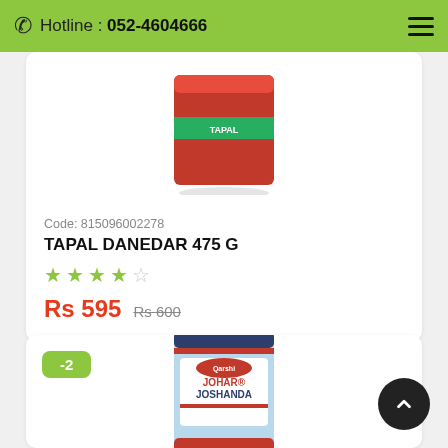Hotline : 052-4604666
Code: 815096002278
TAPAL DANEDAR 475 G
★★★★☆ (star rating, 4 empty stars outlined in green)
Rs 595  Rs 600
[Figure (photo): Product image of Tapal Danedar 475g tea box (red box with green ribbon)]
[Figure (photo): Product image of Johar Joshanda box by Qarshi with -2 discount badge]